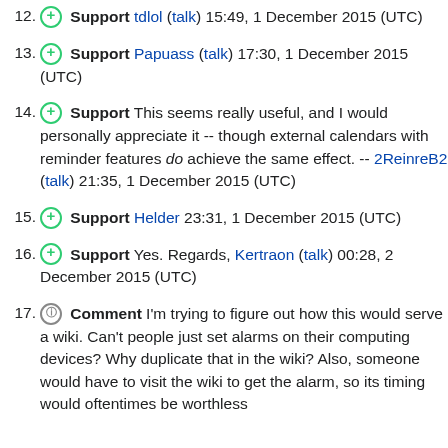12. Support tdlol (talk) 15:49, 1 December 2015 (UTC)
13. Support Papuass (talk) 17:30, 1 December 2015 (UTC)
14. Support This seems really useful, and I would personally appreciate it -- though external calendars with reminder features do achieve the same effect. -- 2ReinreB2 (talk) 21:35, 1 December 2015 (UTC)
15. Support Helder 23:31, 1 December 2015 (UTC)
16. Support Yes. Regards, Kertraon (talk) 00:28, 2 December 2015 (UTC)
17. Comment I'm trying to figure out how this would serve a wiki. Can't people just set alarms on their computing devices? Why duplicate that in the wiki? Also, someone would have to visit the wiki to get the alarm, so its timing would oftentimes be worthless